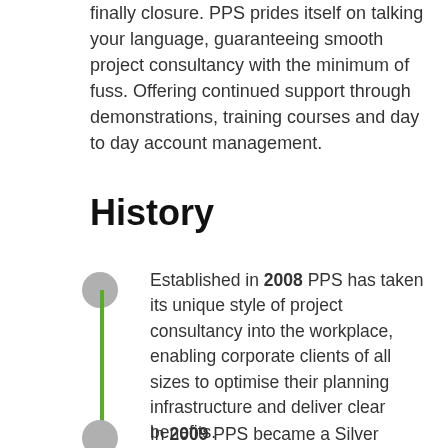finally closure. PPS prides itself on talking your language, guaranteeing smooth project consultancy with the minimum of fuss. Offering continued support through demonstrations, training courses and day to day account management.
History
Established in 2008 PPS has taken its unique style of project consultancy into the workplace, enabling corporate clients of all sizes to optimise their planning infrastructure and deliver clear benefits.
In 2009 PPS became a Silver